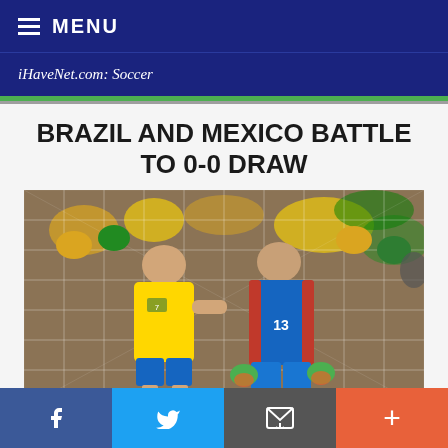MENU
iHaveNet.com: Soccer
BRAZIL AND MEXICO BATTLE TO 0-0 DRAW
[Figure (photo): Brazil player in yellow jersey facing Mexico goalkeeper wearing blue jersey with number 13, standing in front of a soccer goal net with crowd in background]
f  (Twitter bird)  (email icon)  +